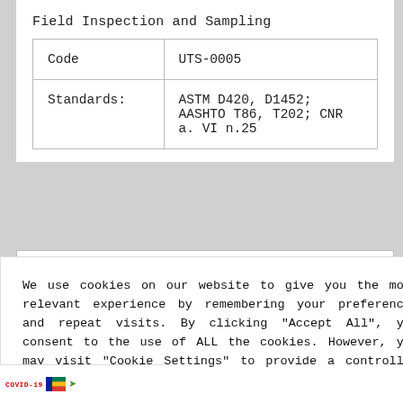Field Inspection and Sampling
|  |  |
| --- | --- |
| Code | UTS-0005 |
| Standards: | ASTM D420, D1452; AASHTO T86, T202; CNR a. VI n.25 |
We use cookies on our website to give you the most relevant experience by remembering your preferences and repeat visits. By clicking "Accept All", you consent to the use of ALL the cookies. However, you may visit "Cookie Settings" to provide a controlled consent.
Cookie Settings | Accept All